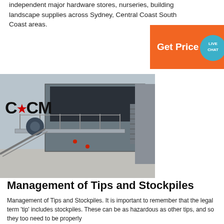independent major hardware stores, nurseries, building landscape supplies across Sydney, Central Coast South Coast areas.
[Figure (other): Orange 'Get Price' button with a teal live chat speech bubble icon overlay in the top right area]
[Figure (photo): Industrial machinery/plant facility with metal walkways, conveyor belts and concrete structure; CCM logo overlaid in top-left]
Management of Tips and Stockpiles
Management of Tips and Stockpiles. It is important to remember that the legal term 'tip' includes stockpiles. These can be as hazardous as other tips, and so they too need to be properly